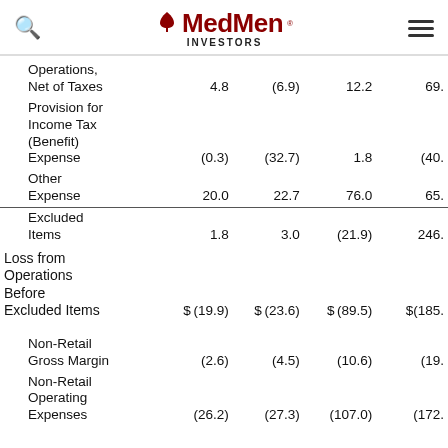MedMen INVESTORS
|  |  |  |  |  |
| --- | --- | --- | --- | --- |
| Operations, Net of Taxes | 4.8 | (6.9) | 12.2 | 69. |
| Provision for Income Tax (Benefit) Expense | (0.3) | (32.7) | 1.8 | (40. |
| Other Expense | 20.0 | 22.7 | 76.0 | 65. |
| Excluded Items | 1.8 | 3.0 | (21.9) | 246. |
| Loss from Operations Before Excluded Items | $ (19.9) | $ (23.6) | $ (89.5) | $(185. |
| Non-Retail Gross Margin | (2.6) | (4.5) | (10.6) | (19. |
| Non-Retail Operating Expenses | (26.2) | (27.3) | (107.0) | (172. |